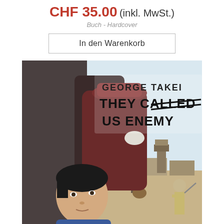CHF 35.00 (inkl. MwSt.)
Buch - Hardcover
In den Warenkorb
[Figure (illustration): Book cover illustration for 'They Called Us Enemy' by George Takei. Shows a young Asian boy looking back over his shoulder in the foreground, with adults walking toward a Japanese-American internment camp in the background. A guard with a rifle stands to the right. The book title 'THEY CALLED US ENEMY' and author name 'GEORGE TAKEI' appear at the top in bold text.]